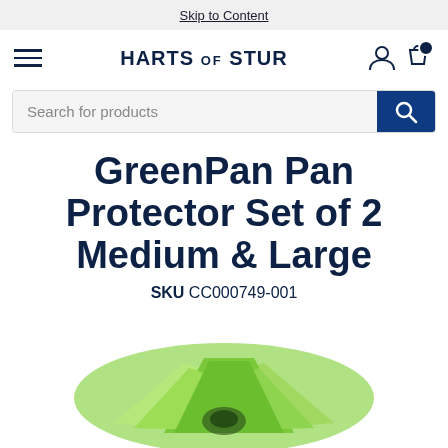Skip to Content
[Figure (screenshot): Harts of Stur website navigation bar with hamburger menu, brand logo, user account icon, and shopping bag icon with notification badge]
[Figure (screenshot): Search bar with placeholder text 'Search for products' and a dark blue search button with magnifying glass icon]
GreenPan Pan Protector Set of 2 Medium & Large
SKU CC000749-001
[Figure (photo): Green pan protectors stacked, visible at the bottom of the page]